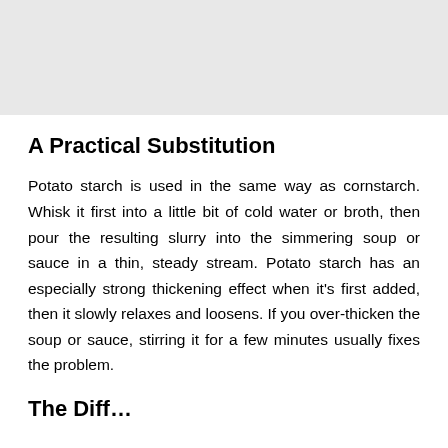A Practical Substitution
Potato starch is used in the same way as cornstarch. Whisk it first into a little bit of cold water or broth, then pour the resulting slurry into the simmering soup or sauce in a thin, steady stream. Potato starch has an especially strong thickening effect when it's first added, then it slowly relaxes and loosens. If you over-thicken the soup or sauce, stirring it for a few minutes usually fixes the problem.
The Diff…